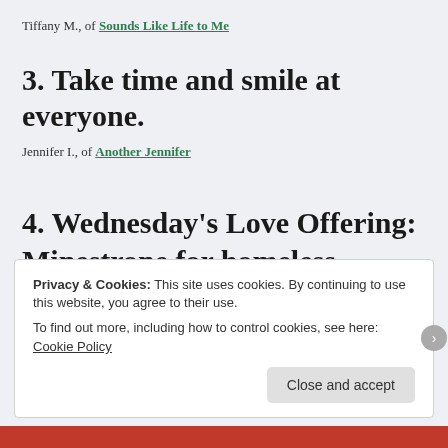Tiffany M., of Sounds Like Life to Me
3. Take time and smile at everyone.
Jennifer I., of Another Jennifer
4. Wednesday's Love Offering: Minestrone for homeless.
Privacy & Cookies: This site uses cookies. By continuing to use this website, you agree to their use. To find out more, including how to control cookies, see here: Cookie Policy
Close and accept